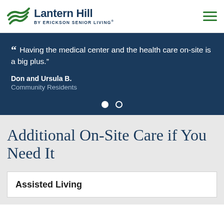Lantern Hill BY ERICKSON SENIOR LIVING®
“ Having the medical center and the health care on-site is a big plus.”

Don and Ursula B.
Community Residents
[Figure (other): Carousel navigation dots: one filled white circle and one empty white circle outline]
Additional On-Site Care if You Need It
Assisted Living